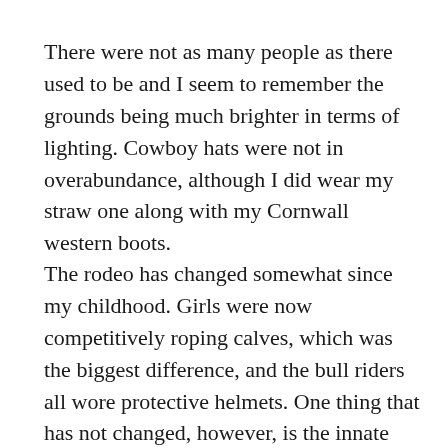There were not as many people as there used to be and I seem to remember the grounds being much brighter in terms of lighting. Cowboy hats were not in overabundance, although I did wear my straw one along with my Cornwall western boots.
The rodeo has changed somewhat since my childhood. Girls were now competitively roping calves, which was the biggest difference, and the bull riders all wore protective helmets. One thing that has not changed, however, is the innate